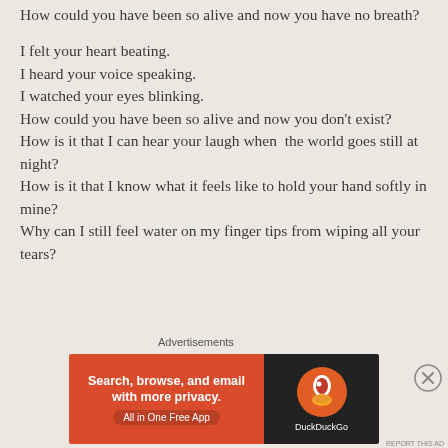How could you have been so alive and now you have no breath?

I felt your heart beating.
I heard your voice speaking.
I watched your eyes blinking.
How could you have been so alive and now you don't exist?
How is it that I can hear your laugh when  the world goes still at night?
How is it that I know what it feels like to hold your hand softly in mine?
Why can I still feel water on my finger tips from wiping all your tears?
[Figure (screenshot): DuckDuckGo advertisement banner: orange/red left panel with text 'Search, browse, and email with more privacy. All in One Free App' and dark right panel with DuckDuckGo logo and brand name.]